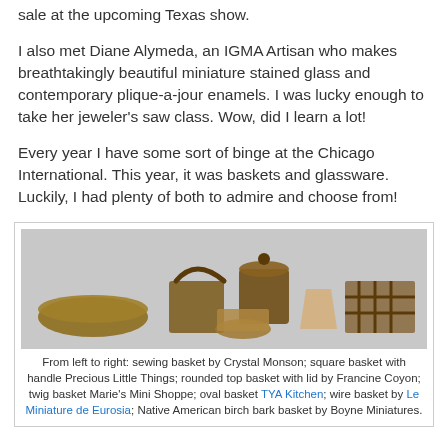sale at the upcoming Texas show.
I also met Diane Alymeda, an IGMA Artisan who makes breathtakingly beautiful miniature stained glass and contemporary plique-a-jour enamels. I was lucky enough to take her jeweler's saw class. Wow, did I learn a lot!
Every year I have some sort of binge at the Chicago International. This year, it was baskets and glassware. Luckily, I had plenty of both to admire and choose from!
[Figure (photo): Collection of miniature baskets arranged together: a flat sewing basket, a square basket with handle, a rounded top basket with lid, a twig basket, an oval basket, a wire basket, and a Native American birch bark basket.]
From left to right: sewing basket by Crystal Monson; square basket with handle Precious Little Things; rounded top basket with lid by Francine Coyon; twig basket Marie's Mini Shoppe; oval basket TYA Kitchen; wire basket by Le Miniature de Eurosia; Native American birch bark basket by Boyne Miniatures.